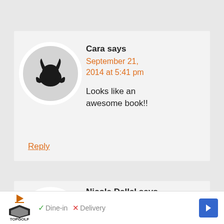[Figure (illustration): User avatar — circular grey background with black devil/monster silhouette icon, white border]
Cara says
September 21, 2014 at 5:41 pm
Looks like an awesome book!!
Reply
[Figure (illustration): User avatar — circular grey background with black devil/monster silhouette icon, white border (partially visible)]
Nicole Dallal says
September 21,
[Figure (screenshot): Ad bar at bottom: TopGolf logo with play button, Dine-in with checkmark, Delivery with X, blue arrow navigation button]